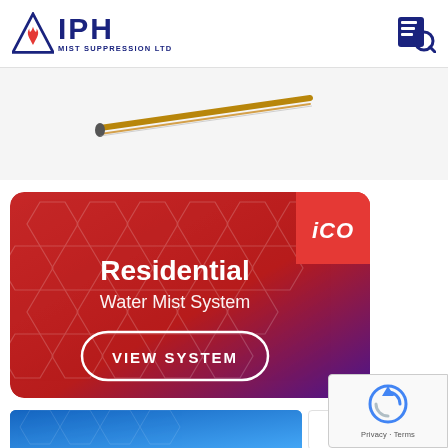[Figure (logo): IPH Mist Suppression Ltd logo with triangle/flame icon and dark blue text]
[Figure (photo): Partial view of copper/metal pipe or tube against white background]
[Figure (infographic): Red-to-purple gradient card with hexagon pattern background showing 'Residential Water Mist System' heading, iCO badge top-right, and VIEW SYSTEM button]
[Figure (logo): reCAPTCHA widget with Privacy and Terms text]
[Figure (infographic): Bottom blue card strip partially visible, with ULTRA FOG logo on right side]